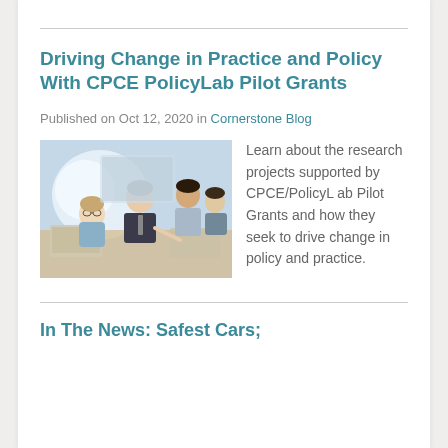Driving Change in Practice and Policy With CPCE PolicyLab Pilot Grants
Published on Oct 12, 2020 in Cornerstone Blog
[Figure (photo): Group of professionals collaborating around a table with laptops]
Learn about the research projects supported by CPCE/PolicyLab Pilot Grants and how they seek to drive change in policy and practice.
In The News: Safest Cars;